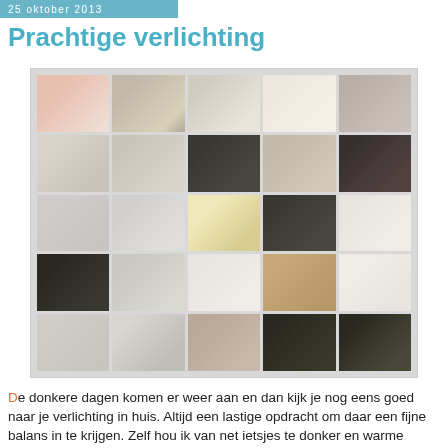25 oktober 2013
Prachtige verlichting
[Figure (photo): A 5x5 grid collage of interior design and lighting photographs, showing various lamps, home decor items, and lighting setups in mostly neutral tones with some black and white photography.]
De donkere dagen komen er weer aan en dan kijk je nog eens goed naar je verlichting in huis. Altijd een lastige opdracht om daar een fijne balans in te krijgen. Zelf hou ik van net ietsjes te donker en warme verlichting. Deze lampen van Triplex uit Zweden doen me denken aan de Jieldé